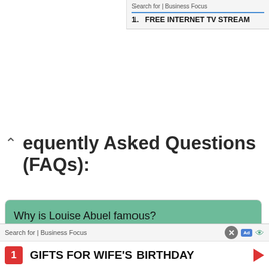Search for | Business Focus
1. FREE INTERNET TV STREAM
equently Asked Questions (FAQs):
Why is Louise Abuel famous?
He is famous for being a successful Actor.
Where is he from?
Search for | Business Focus
1 GIFTS FOR WIFE'S BIRTHDAY